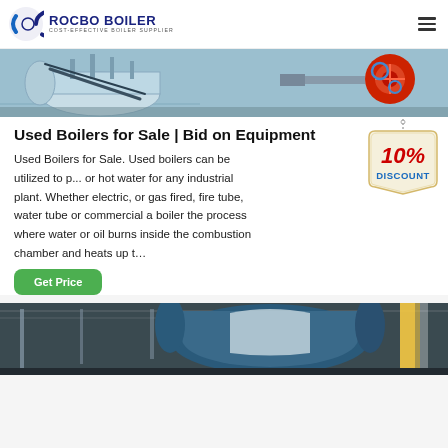ROCBO BOILER - COST-EFFECTIVE BOILER SUPPLIER
[Figure (photo): Industrial boiler equipment photo showing machinery with pipes and a red motor/fan unit on the right]
Used Boilers for Sale | Bid on Equipment
[Figure (infographic): 10% DISCOUNT badge/label graphic hanging from a chain]
Used Boilers for Sale. Used boilers can be utilized to p... or hot water for any industrial plant. Whether electric, or gas fired, fire tube, water tube or commercial a boiler the process where water or oil burns inside the combustion chamber and heats up t...
Get Price
[Figure (photo): Industrial boiler equipment photo showing large cylindrical boiler machinery]